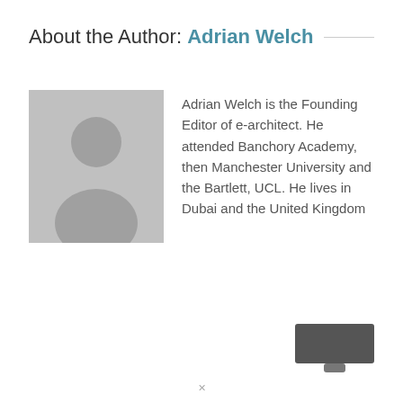About the Author: Adrian Welch
[Figure (illustration): Placeholder avatar silhouette of a person on a grey background]
Adrian Welch is the Founding Editor of e-architect. He attended Banchory Academy, then Manchester University and the Bartlett, UCL. He lives in Dubai and the United Kingdom